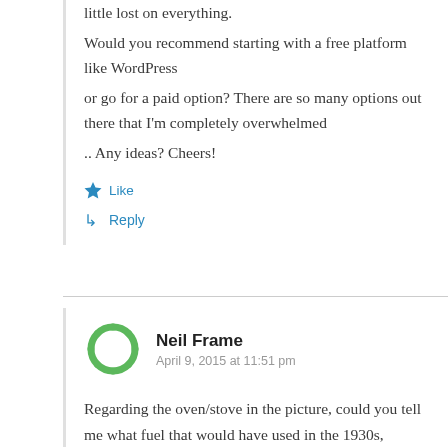little lost on everything.
Would you recommend starting with a free platform like WordPress
or go for a paid option? There are so many options out there that I'm completely overwhelmed
.. Any ideas? Cheers!
Like
Reply
Neil Frame
April 9, 2015 at 11:51 pm
Regarding the oven/stove in the picture, could you tell me what fuel that would have used in the 1930s,